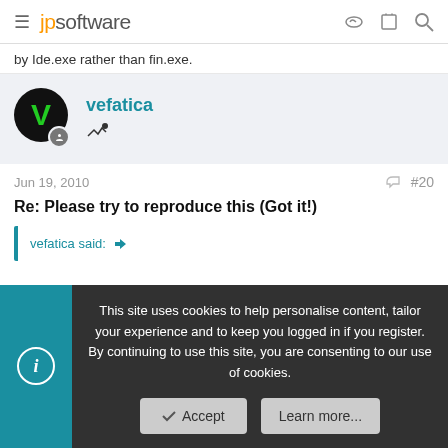jpsoftware
by Ide.exe rather than fin.exe.
vefatica
Jun 19, 2010  #20
Re: Please try to reproduce this (Got it!)
vefatica said:
This site uses cookies to help personalise content, tailor your experience and to keep you logged in if you register.
By continuing to use this site, you are consenting to our use of cookies.